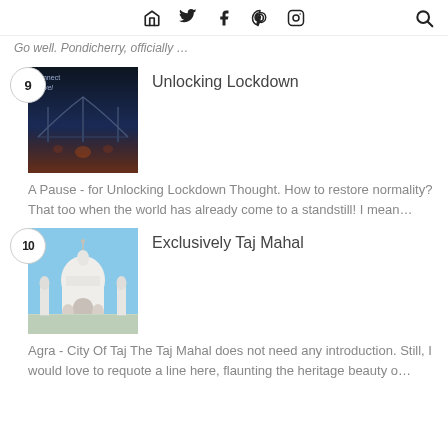Navigation bar with home, twitter, facebook, pinterest, instagram icons and search
Go well. Pondicherry, officially …
9 — Unlocking Lockdown — A Pause - for Unlocking Lockdown Thought. How to restore normality? That too when the world has already come to a standstill! I mean…
10 — Exclusively Taj Mahal — Agra - City Of Taj The Taj Mahal does not need any introduction. Still, I would love to requote a line here, flaunting the heritage beauty o…